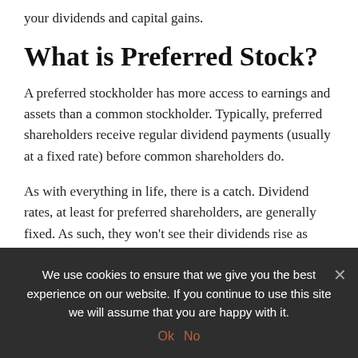your dividends and capital gains.
What is Preferred Stock?
A preferred stockholder has more access to earnings and assets than a common stockholder. Typically, preferred shareholders receive regular dividend payments (usually at a fixed rate) before common shareholders do.
As with everything in life, there is a catch. Dividend rates, at least for preferred shareholders, are generally fixed. As such, they won’t see their dividends rise as much as the business becomes lucrative.
What happens if a company goes bankrupt or is liquidated? Priority
We use cookies to ensure that we give you the best experience on our website. If you continue to use this site we will assume that you are happy with it.
Ok  No